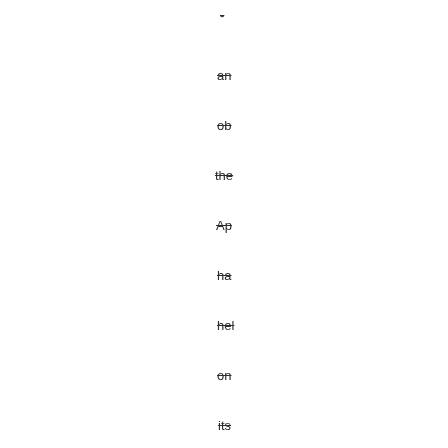-
an
ob
the
Ap
ha
hel
on
its
Me
OS
an
adv
wa
abl
to
diff
ab